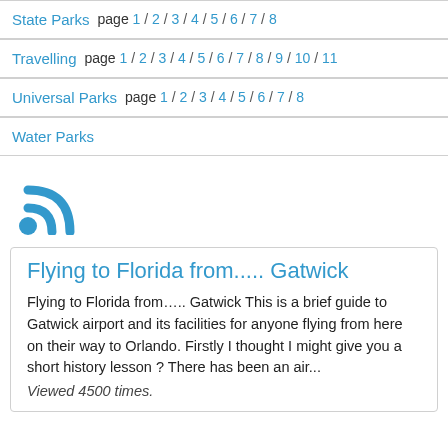State Parks   page 1 / 2 / 3 / 4 / 5 / 6 / 7 / 8
Travelling   page 1 / 2 / 3 / 4 / 5 / 6 / 7 / 8 / 9 / 10 / 11
Universal Parks   page 1 / 2 / 3 / 4 / 5 / 6 / 7 / 8
Water Parks
[Figure (illustration): RSS feed icon (blue wifi-signal style symbol)]
Flying to Florida from..... Gatwick
Flying to Florida from..... Gatwick This is a brief guide to Gatwick airport and its facilities for anyone flying from here on their way to Orlando. Firstly I thought I might give you a short history lesson ? There has been an air...
Viewed 4500 times.